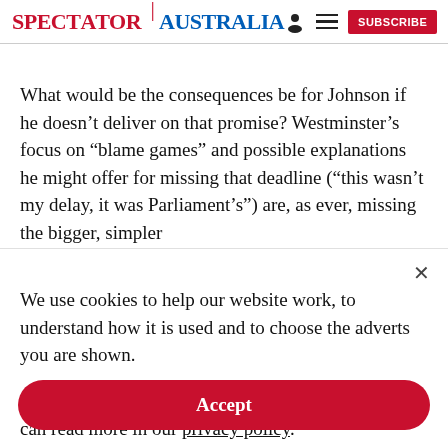SPECTATOR | AUSTRALIA
What would be the consequences be for Johnson if he doesn't deliver on that promise? Westminster's focus on “blame games” and possible explanations he might offer for missing that deadline (“this wasn't my delay, it was Parliament's”) are, as ever, missing the bigger, simpler
We use cookies to help our website work, to understand how it is used and to choose the adverts you are shown.
By clicking "Accept" you agree to us doing so. You can read more in our privacy policy.
Accept